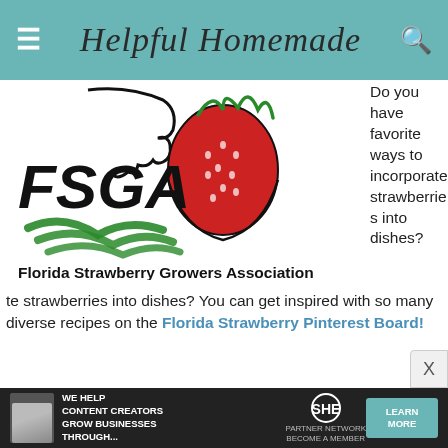Helpful Homemade
[Figure (logo): FSGA - Florida Strawberry Growers Association logo with strawberry illustration]
Do you have favorite ways to incorporate strawberries into dishes? You can get inspired with so many diverse recipes on the Florida Strawberry Pinterest Board!
In addition, make sure you become a fan of Florida Strawberry on Facebook, chat with them on Twitter,
[Figure (infographic): SHE Partner Network advertisement banner: We help content creators grow businesses through... LEARN MORE]